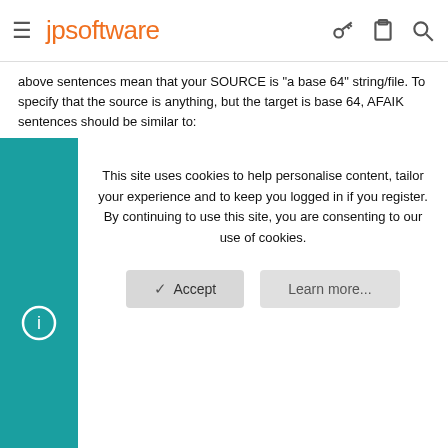jpsoftware
above sentences mean that your SOURCE is "a base 64" string/file. To specify that the source is anything, but the target is base 64, AFAIK sentences should be similar to:
"@B64ENCODE[s,string] : Encode string into a base 64 (MIME encoding format) string. Returns the encoded string.
@B64ENCODE[inputfile,outputfile] : Encode inputfile into base 64 (MIME encoding format) and write it to outputfile. Returns 0 if the output file was successfully written."
--
This site uses cookies to help personalise content, tailor your experience and to keep you logged in if you register.
By continuing to use this site, you are consenting to our use of cookies.